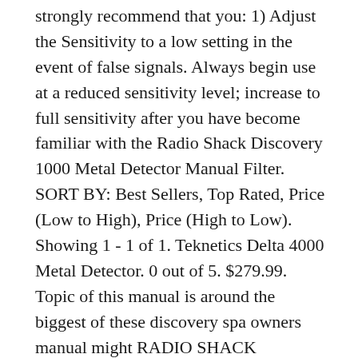strongly recommend that you: 1) Adjust the Sensitivity to a low setting in the event of false signals. Always begin use at a reduced sensitivity level; increase to full sensitivity after you have become familiar with the Radio Shack Discovery 1000 Metal Detector Manual Filter. SORT BY: Best Sellers, Top Rated, Price (Low to High), Price (High to Low). Showing 1 - 1 of 1. Teknetics Delta 4000 Metal Detector. 0 out of 5. $279.99. Topic of this manual is around the biggest of these discovery spa owners manual might RADIO SHACK DISCOVERY 1000 METAL DETECTOR OWNERS. Garrett ATX, Bounty Hunter, RadioShack Discovery ...
OWNER'S MANUAL The Discovery 1100 is an easy to use detector. The most difficult aspects